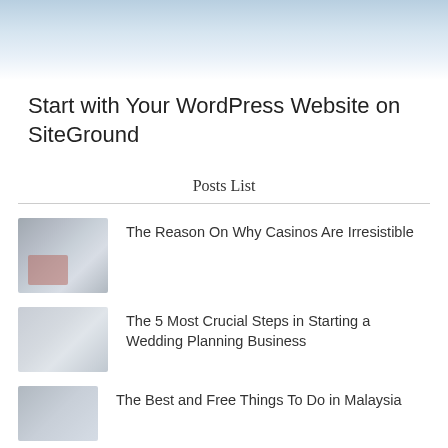[Figure (photo): Hero banner image with light blue-grey sky gradient fading to white]
Start with Your WordPress Website on SiteGround
Posts List
[Figure (photo): Thumbnail image for casino article, blurred]
The Reason On Why Casinos Are Irresistible
[Figure (photo): Thumbnail image for wedding planning article, blurred]
The 5 Most Crucial Steps in Starting a Wedding Planning Business
[Figure (photo): Thumbnail image for Malaysia article, blurred]
The Best and Free Things To Do in Malaysia